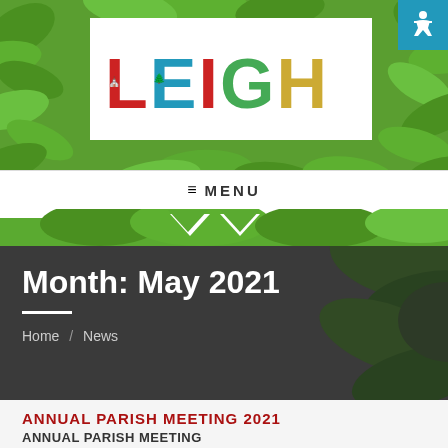[Figure (logo): LEIGH parish council logo with decorative illustrated letters on white background, surrounded by green leaf foliage]
≡ MENU
Month: May 2021
Home / News
ANNUAL PARISH MEETING 2021
ANNUAL PARISH MEETING